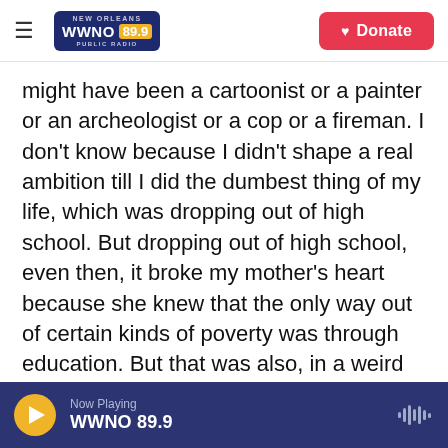NEW ORLEANS WWNO 89.9 PUBLIC RADIO | Donate
might have been a cartoonist or a painter or an archeologist or a cop or a fireman. I don't know because I didn't shape a real ambition till I did the dumbest thing of my life, which was dropping out of high school. But dropping out of high school, even then, it broke my mother's heart because she knew that the only way out of certain kinds of poverty was through education. But that was also, in a weird way, the thing that gave me my life because I was never satisfied. I had to keep learning every day of my life. Reading helped me to that because I grew up before television, when - for entertainment you read books
Now Playing WWNO 89.9